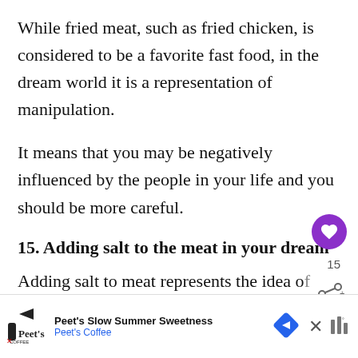While fried meat, such as fried chicken, is considered to be a favorite fast food, in the dream world it is a representation of manipulation.
It means that you may be negatively influenced by the people in your life and you should be more careful.
15. Adding salt to the meat in your dream
Adding salt to meat represents the idea of needing external support. This means that you...
[Figure (other): Advertisement banner for Peet's Coffee - Peet's Slow Summer Sweetness, Peet's Coffee, with navigation arrow icon and close button]